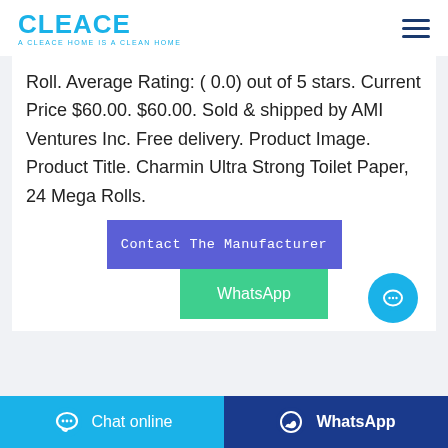CLEACE — A CLEACE HOME IS A CLEAN HOME
Roll. Average Rating: ( 0.0) out of 5 stars. Current Price $60.00. $60.00. Sold & shipped by AMI Ventures Inc. Free delivery. Product Image. Product Title. Charmin Ultra Strong Toilet Paper, 24 Mega Rolls.
[Figure (other): Contact The Manufacturer button (blue/purple) and WhatsApp button (green)]
[Figure (other): Chat online button (light blue) and WhatsApp button (dark blue) in footer bar]